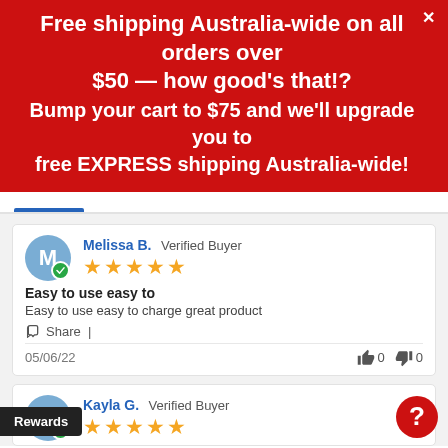Free shipping Australia-wide on all orders over $50 — how good's that!? Bump your cart to $75 and we'll upgrade you to free EXPRESS shipping Australia-wide!
Melissa B.  Verified Buyer
★★★★★
Easy to use easy to
Easy to use easy to charge great product
Share |
05/06/22   👍 0   👎 0
Kayla G.  Verified Buyer
★★★★★
Rewards